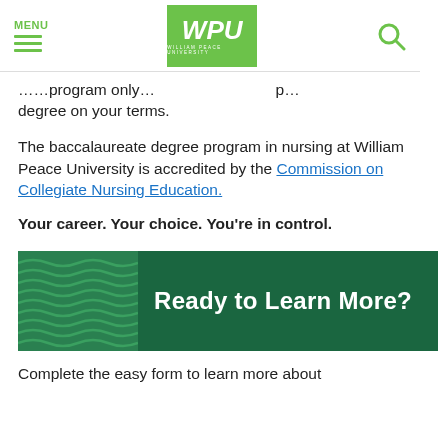MENU | WPU WILLIAM PEACE UNIVERSITY | [search]
…program only… p… degree on your terms.
The baccalaureate degree program in nursing at William Peace University is accredited by the Commission on Collegiate Nursing Education.
Your career. Your choice. You're in control.
[Figure (infographic): Dark green banner with wavy pattern on left side and white bold text reading 'Ready to Learn More?']
Complete the easy form to learn more about